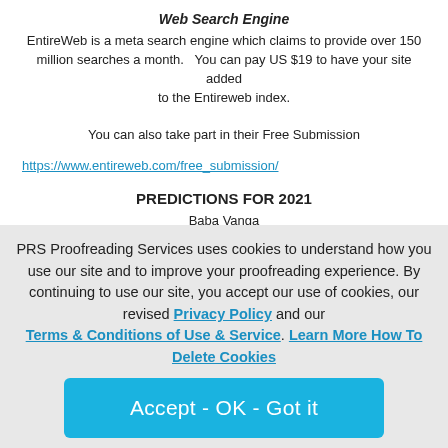Web Search Engine
EntireWeb is a meta search engine which claims to provide over 150 million searches a month.   You can pay US $19 to have your site added to the Entireweb index.

You can also take part in their Free Submission
https://www.entireweb.com/free_submission/
PREDICTIONS FOR 2021
Baba Vanga
A BLIND mystic who reportedly predicted 9/11 foresees a cure for cancer, an assassination attempt on Vladimir Putin and a "dragon
PRS Proofreading Services uses cookies to understand how you use our site and to improve your proofreading experience. By continuing to use our site, you accept our use of cookies, our revised Privacy Policy and our Terms & Conditions of Use & Service. Learn More How To Delete Cookies
Accept - OK - Got it